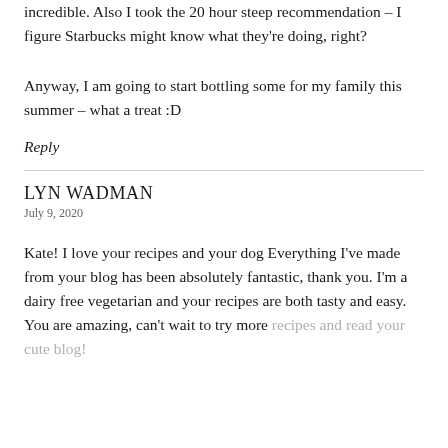incredible. Also I took the 20 hour steep recommendation – I figure Starbucks might know what they're doing, right?
Anyway, I am going to start bottling some for my family this summer – what a treat :D
Reply
LYN WADMAN
July 9, 2020
Kate! I love your recipes and your dog Everything I've made from your blog has been absolutely fantastic, thank you. I'm a dairy free vegetarian and your recipes are both tasty and easy. You are amazing, can't wait to try more recipes and read your cute blog!